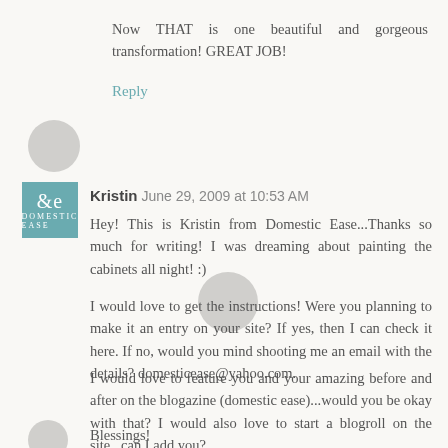Now THAT is one beautiful and gorgeous transformation! GREAT JOB!
Reply
[Figure (illustration): Blurred circular avatar placeholder]
[Figure (logo): Domestic Ease teal square logo with ampersand symbol]
Kristin June 29, 2009 at 10:53 AM
Hey! This is Kristin from Domestic Ease...Thanks so much for writing! I was dreaming about painting the cabinets all night! :)
[Figure (illustration): Blurred circular avatar placeholder]
I would love to get the instructions! Were you planning to make it an entry on your site? If yes, then I can check it here. If no, would you mind shooting me an email with the details? domesticease@yahoo.com.
I would love to feature you and your amazing before and after on the blogazine (domestic ease)...would you be okay with that? I would also love to start a blogroll on the site...can I add you?
[Figure (illustration): Blurred circular avatar placeholder]
Blessings!